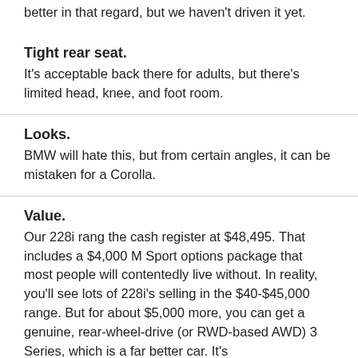…2.0 engine available in the 228i which may be better in that regard, but we haven't driven it yet.
Tight rear seat. It's acceptable back there for adults, but there's limited head, knee, and foot room.
Looks. BMW will hate this, but from certain angles, it can be mistaken for a Corolla.
Value. Our 228i rang the cash register at $48,495. That includes a $4,000 M Sport options package that most people will contentedly live without. In reality, you'll see lots of 228i's selling in the $40-$45,000 range. But for about $5,000 more, you can get a genuine, rear-wheel-drive (or RWD-based AWD) 3 Series, which is a far better car. It's